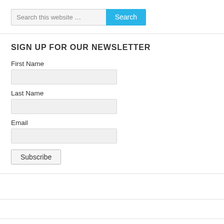[Figure (screenshot): Search bar with placeholder text 'Search this website …' and a blue 'Search' button]
SIGN UP FOR OUR NEWSLETTER
First Name
Last Name
Email
Subscribe
TWEET, TWEET!
Tweets by @iheartretail